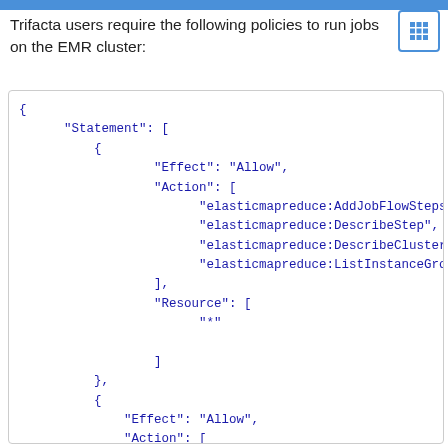Trifacta users require the following policies to run jobs on the EMR cluster:
{
    "Statement": [
        {
            "Effect": "Allow",
            "Action": [
                "elasticmapreduce:AddJobFlowSteps",
                "elasticmapreduce:DescribeStep",
                "elasticmapreduce:DescribeCluster",
                "elasticmapreduce:ListInstanceGroups"
            ],
            "Resource": [
                "*"
            ]
        },
        {
        "Effect": "Allow",
        "Action": [
            "s3:*"
        ]